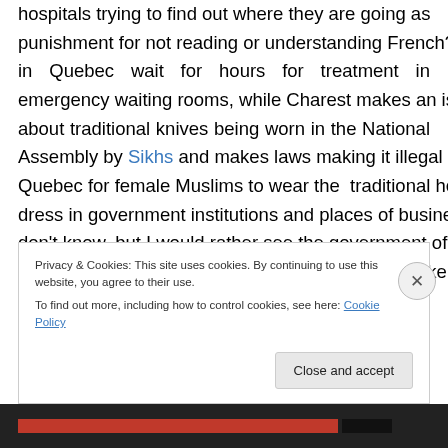hospitals trying to find out where they are going as punishment for not reading or understanding French? We in Quebec wait for hours for treatment in emergency waiting rooms, while Charest makes an issue about traditional knives being worn in the National Assembly by Sikhs and makes laws making it illegal in Quebec for female Muslims to wear the traditional head-dress in government institutions and places of business. I don't know, but I would rather see the government of Quebec trying to solve some of its real problems like
Privacy & Cookies: This site uses cookies. By continuing to use this website, you agree to their use. To find out more, including how to control cookies, see here: Cookie Policy
Close and accept